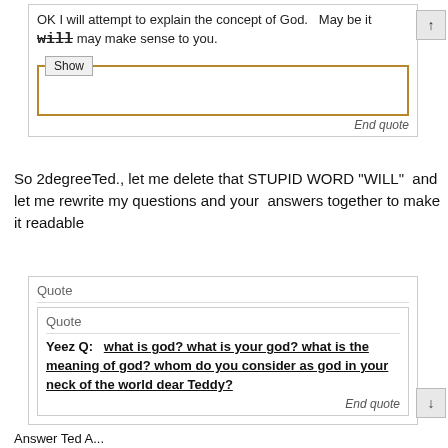OK I will attempt to explain the concept of God.  May be it will may make sense to you.
[Figure (screenshot): A Show fieldset with a brown/gold border, collapsed/empty content area]
End quote
So 2degreeTed., let me delete that STUPID WORD "WILL"  and let me rewrite my questions and your  answers together to make it readable
Quote
Quote
Yeez Q:   what is god? what is your god? what is the meaning of god? whom do you consider as god in your neck of the world dear Teddy?
End quote
Answer Ted A...